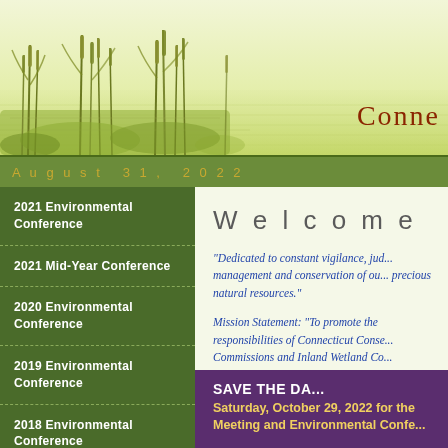[Figure (illustration): Wetland/marsh scene with cattail reeds reflected in water, green and yellow tones, with 'Conne' text (partial, cut off) in dark red on the right side]
August 31, 2022
2021 Environmental Conference
2021 Mid-Year Conference
2020 Environmental Conference
2019 Environmental Conference
2018 Environmental Conference
2017 Environmental Conference
Welcome
"Dedicated to constant vigilance, jud... management and conservation of ou... precious natural resources."
Mission Statement: "To promote the responsibilities of Connecticut Conse... Commissions and Inland Wetland Co... environmental quality through educa... conservation and protection of wetla... resources."
SAVE THE DA... Saturday, October 29, 2022 for the Meeting and Environmental Confe...